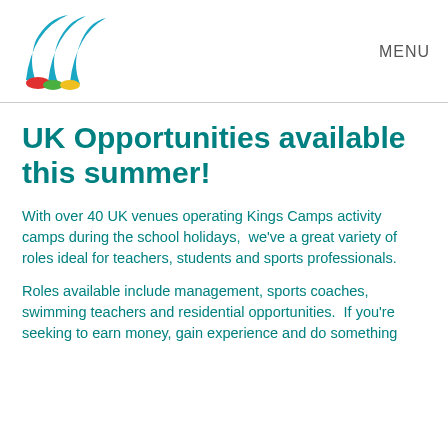[Figure (logo): Kings Camps logo with blue, red, green and yellow swoosh shapes]
MENU
UK Opportunities available this summer!
With over 40 UK venues operating Kings Camps activity camps during the school holidays,  we've a great variety of roles ideal for teachers, students and sports professionals.
Roles available include management, sports coaches, swimming teachers and residential opportunities.  If you're seeking to earn money, gain experience and do something